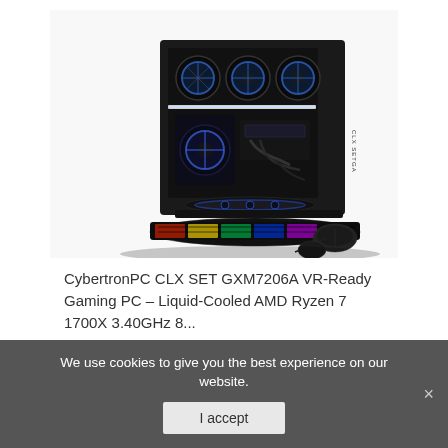[Figure (photo): CybertronPC CLX SET GXM7206A gaming desktop PC with black tower case showing blue LED fans and liquid cooling, RGB keyboard, and mouse]
CybertronPC CLX SET GXM7206A VR-Ready Gaming PC – Liquid-Cooled AMD Ryzen 7 1700X 3.40GHz 8...
We use cookies to give you the best experience on our website.
I accept